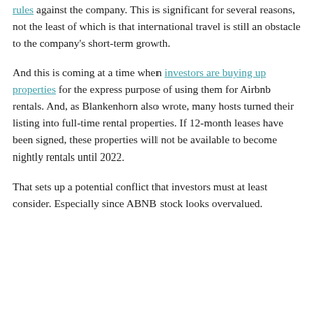rules against the company. This is significant for several reasons, not the least of which is that international travel is still an obstacle to the company's short-term growth.
And this is coming at a time when investors are buying up properties for the express purpose of using them for Airbnb rentals. And, as Blankenhorn also wrote, many hosts turned their listing into full-time rental properties. If 12-month leases have been signed, these properties will not be available to become nightly rentals until 2022.
That sets up a potential conflict that investors must at least consider. Especially since ABNB stock looks overvalued.